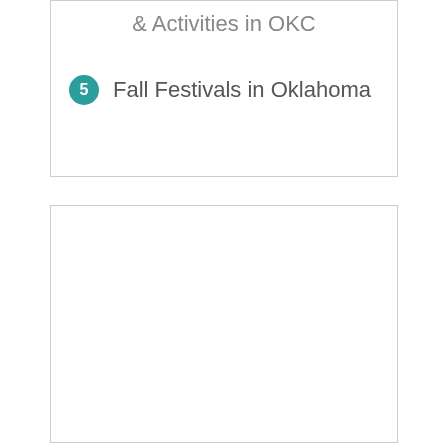& Activities in OKC
5 Fall Festivals in Oklahoma
[Figure (other): Empty white box with border, no content visible]